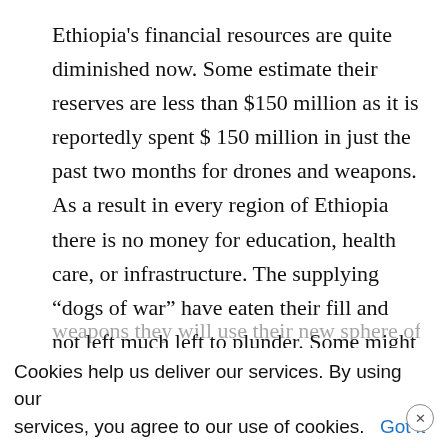Ethiopia's financial resources are quite diminished now. Some estimate their reserves are less than $150 million as it is reportedly spent $ 150 million in just the past two months for drones and weapons. As a result in every region of Ethiopia there is no money for education, health care, or infrastructure. The supplying “dogs of war” have eaten their fill and not left much left to plunder. Some might even argue that Ethiopia was a demonstration run for Turkey to convince other countries to buy it’s drone weapons which Ethiopia nicely paid for. Now in return for not giving more weapons they will use their new sphere of
Cookies help us deliver our services. By using our services, you agree to our use of cookies.  Got it